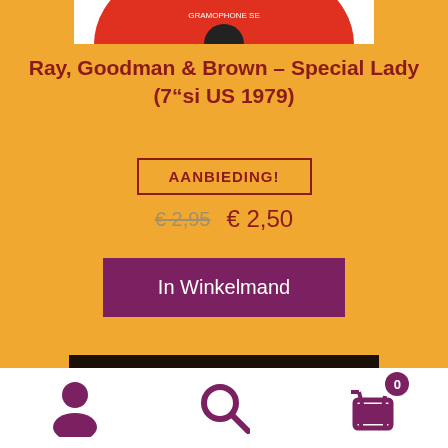[Figure (photo): Partial view of a vinyl record with red label, cropped at top]
Ray, Goodman & Brown – Special Lady (7"si US 1979)
AANBIEDING!
€ 2,95  € 2,50
In Winkelmand
[Figure (photo): Kate Bush On Stage album cover with pink text on dark background]
[Figure (other): Bottom navigation bar with person icon, search icon, and shopping cart icon with badge showing 0]